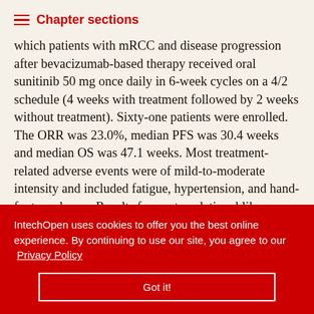Chapter sections
which patients with mRCC and disease progression after bevacizumab-based therapy received oral sunitinib 50 mg once daily in 6-week cycles on a 4/2 schedule (4 weeks with treatment followed by 2 weeks without treatment). Sixty-one patients were enrolled. The ORR was 23.0%, median PFS was 30.4 weeks and median OS was 47.1 weeks. Most treatment-related adverse events were of mild-to-moderate intensity and included fatigue, hypertension, and hand-foot syndrome. Results from a translational VEGF-based study showed increased plasma levels of the drug and high bevacizumab resistance
IntechOpen uses cookies to offer you the best online experience. By continuing to use our site, you agree to our Privacy Policy
Got it!
VEGF-